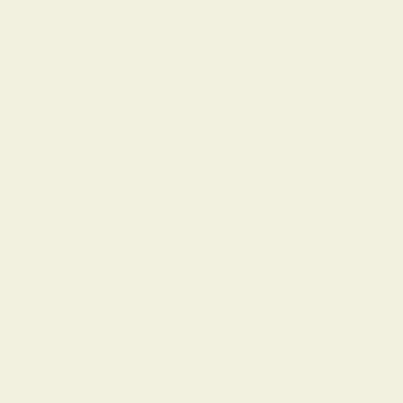cloud,
with mountains erupting across a bay
at low tide.
A man, a little left of center, is wading… Continue reading →
Posted in ...heath quinn blog, ...writers' work, composing, conceptualizing, inspiration, later poems, other arts, rhythm, sonics, writing poetry | Tagged Comments Off
Refresh
Posted on June 19, 2016 by heath quinn
Changes: After a move from NYC to the Hudson River Valley, New York State (USA), life is less circumscribed by a city's dense urban landscapes. My mind and feelings are slowly infiltrating, as if they're shoreline caves and I'm the sea… Continue reading
Posted in ...heath quinn blog, ...writers' work, composing, conceptualizing, poems, other arts, rhythm, sonics | Tagged #amwriting, refresh | Commer